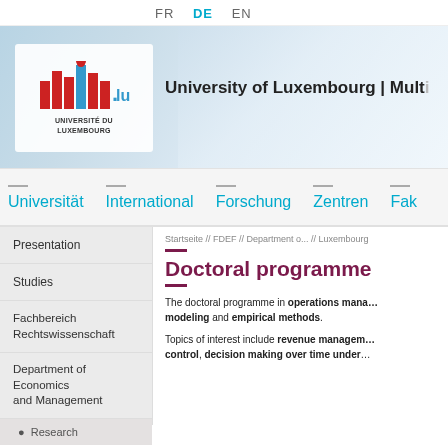FR  DE  EN
[Figure (logo): University of Luxembourg logo with colorful bar chart icon and text UNIVERSITÉ DU LUXEMBOURG]
University of Luxembourg | Mult...
Universität  International  Forschung  Zentren  Fak...
Startseite // FDEF // Department o... // Luxemboug...
Presentation
Studies
Fachbereich Rechtswissenschaft
Department of Economics and Management
• Research
Doctoral programme
The doctoral programme in operations mana... modeling and empirical methods.
Topics of interest include revenue managem... control, decision making over time under...